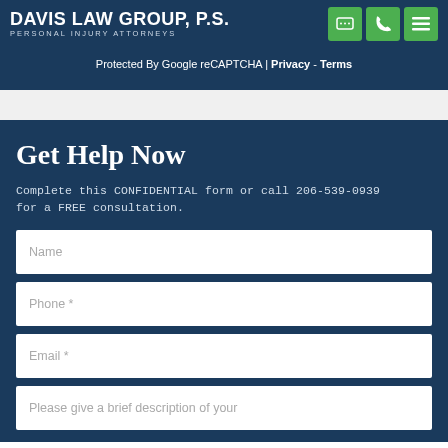Davis Law Group, P.S. — Personal Injury Attorneys
Protected By Google reCAPTCHA | Privacy - Terms
Get Help Now
Complete this CONFIDENTIAL form or call 206-539-0939 for a FREE consultation.
Name
Phone *
Email *
Please give a brief description of your